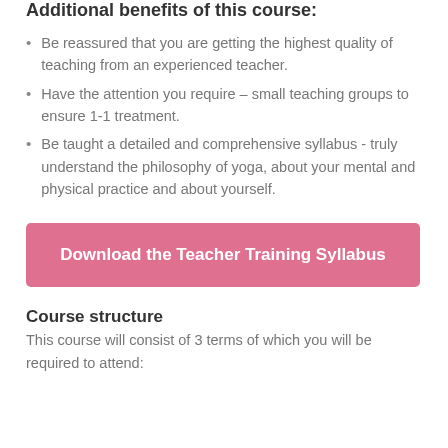Additional benefits of this course:
Be reassured that you are getting the highest quality of teaching from an experienced teacher.
Have the attention you require – small teaching groups to ensure 1-1 treatment.
Be taught a detailed and comprehensive syllabus - truly understand the philosophy of yoga, about your mental and physical practice and about yourself.
[Figure (other): Pink button: Download the Teacher Training Syllabus]
Course structure
This course will consist of 3 terms of which you will be required to attend: